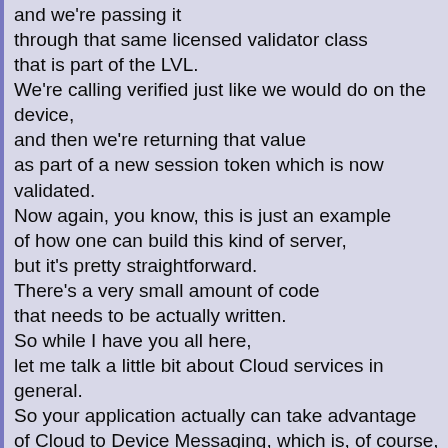and we're passing it through that same licensed validator class that is part of the LVL. We're calling verified just like we would do on the device, and then we're returning that value as part of a new session token which is now validated. Now again, you know, this is just an example of how one can build this kind of server, but it's pretty straightforward. There's a very small amount of code that needs to be actually written. So while I have you all here, let me talk a little bit about Cloud services in general. So your application actually can take advantage of Cloud to Device Messaging, which is, of course, basically what we're using for the background for Google Talk and for GMAIL to send messages. Also, the backup service. And then, of course, in that-- in that other pile we have Android Market, licensing and billing, which I've talked about here.